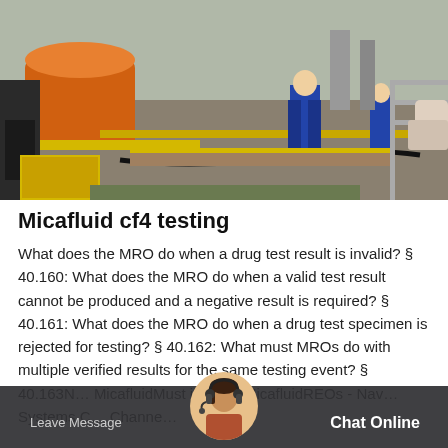[Figure (photo): Industrial site photo showing workers in blue overalls near orange machinery and yellow equipment on a construction/industrial platform]
Micafluid cf4 testing
What does the MRO do when a drug test result is invalid? § 40.160: What does the MRO do when a valid test result cannot be produced and a negative result is required? § 40.161: What does the MRO do when a drug test specimen is rejected for testing? § 40.162: What must MROs do with multiple verified results for the same testing event? § 40.163N… MicafluidMust include MicafluidREOs - Nav… Systems C… Channe…
Leave Message   Chat Online